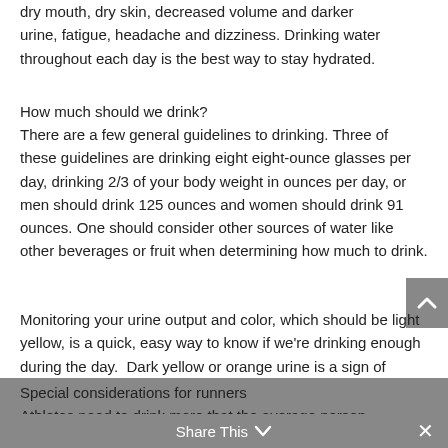that you may be dehydrated include excessive thirst, dry mouth, dry skin, decreased volume and darker urine, fatigue, headache and dizziness. Drinking water throughout each day is the best way to stay hydrated.
How much should we drink?
There are a few general guidelines to drinking. Three of these guidelines are drinking eight eight-ounce glasses per day, drinking 2/3 of your body weight in ounces per day, or men should drink 125 ounces and women should drink 91 ounces. One should consider other sources of water like other beverages or fruit when determining how much to drink.
Monitoring your urine output and color, which should be light yellow, is a quick, easy way to know if we're drinking enough during the day.  Dark yellow or orange urine is a sign of dehydration.
Special considerations for runners
Athletes need to drink more that the average person
Share This ∨  ✕